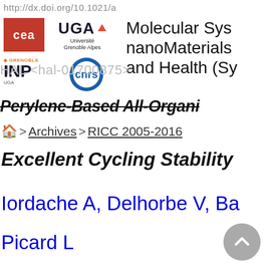http://dx.doi.org/10.1021/a
[Figure (logo): CEA logo (red background with white text 'cea'), UGA (Université Grenoble Alpes) logo with triangle, Grenoble INP UGA logo, CNRS circular logo]
Molecular Systems nanoMaterials and Health (Sy
HAL <hal-01700875>
Perylene-Based All-Organi
> Archives > RICC 2005-2016
Excellent Cycling Stability
Iordache A, Delhorbe V, Ba
Picard L